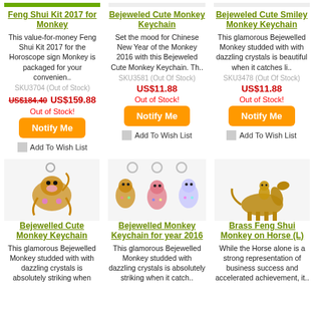[Figure (photo): Feng Shui Kit 2017 for Monkey product (partial top visible)]
[Figure (photo): Bejeweled Cute Monkey Keychain product (partial top visible)]
[Figure (photo): Bejeweled Cute Smiley Monkey Keychain product (partial top visible)]
Feng Shui Kit 2017 for Monkey
Bejeweled Cute Monkey Keychain
Bejeweled Cute Smiley Monkey Keychain
This value-for-money Feng Shui Kit 2017 for the Horoscope sign Monkey is packaged for your convenien..
Set the mood for Chinese New Year of the Monkey 2016 with this Bejeweled Cute Monkey Keychain. Th..
This glamorous Bejewelled Monkey studded with with dazzling crystals is beautiful when it catches li..
SKU3704 (Out of Stock)
SKU3581 (Out Of Stock)
SKU3478 (Out Of Stock)
US$184.40 US$159.88
US$11.88
US$11.88
Out of Stock!
Out of Stock!
Out of Stock!
[Figure (photo): Bejewelled Cute Monkey Keychain - jeweled monkey figurine keychain]
[Figure (photo): Bejewelled Monkey Keychain for year 2016 - three colorful crystal monkey keychains]
[Figure (photo): Brass Feng Shui Monkey on Horse (L) - brass horse with monkey rider figurine]
Bejewelled Cute Monkey Keychain
Bejewelled Monkey Keychain for year 2016
Brass Feng Shui Monkey on Horse (L)
This glamorous Bejewelled Monkey studded with with dazzling crystals is absolutely striking when
This glamorous Bejewelled Monkey studded with dazzling crystals is absolutely striking when it catch..
While the Horse alone is a strong representation of business success and accelerated achievement, it..